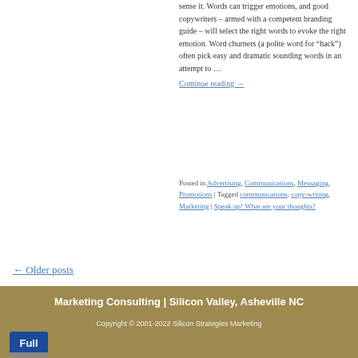sense it. Words can trigger emotions, and good copywriters – armed with a competent branding guide – will select the right words to evoke the right emotion. Word churners (a polite word for “hack”) often pick easy and dramatic sounding words in an attempt to … Continue reading →
Posted in Advertising, Communications, Messaging, Promotions | Tagged communications, copy-writing, Marketing | Speak up! What are your thoughts?
← Older posts
Marketing Consulting | Silicon Valley, Asheville NC
Copyright © 2001-2022 Silicon Strategies Marketing